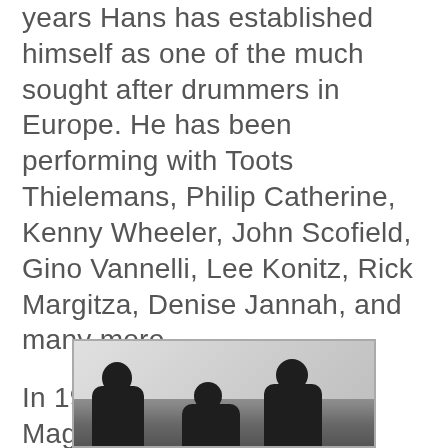years Hans has established himself as one of the much sought after drummers in Europe. He has been performing with Toots Thielemans, Philip Catherine, Kenny Wheeler, John Scofield, Gino Vannelli, Lee Konitz, Rick Margitza, Denise Jannah, and many more.
In 1998 The Belgian Jazz Magazine voted Hans 'Best European Jazz Drummer'.
[Figure (photo): Black and white photograph of three people, partially visible at the bottom of the page, appearing to be seated or standing in a room with a plain wall behind them.]